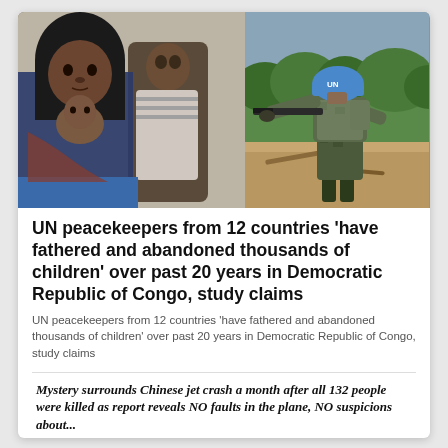[Figure (photo): Two-panel composite photo. Left panel: An African woman in a dark headscarf holding a young child, with another child visible behind them, appearing to be in a refugee/clinic setting. Right panel: A UN peacekeeper in camouflage uniform and blue UN helmet, holding a rifle and pointing it, standing in a dirt road with green vegetation in background.]
UN peacekeepers from 12 countries 'have fathered and abandoned thousands of children' over past 20 years in Democratic Republic of Congo, study claims
UN peacekeepers from 12 countries 'have fathered and abandoned thousands of children' over past 20 years in Democratic Republic of Congo, study claims
Mystery surrounds Chinese jet crash a month after all 132 people were killed as report reveals NO faults in the plane, NO suspicions about...